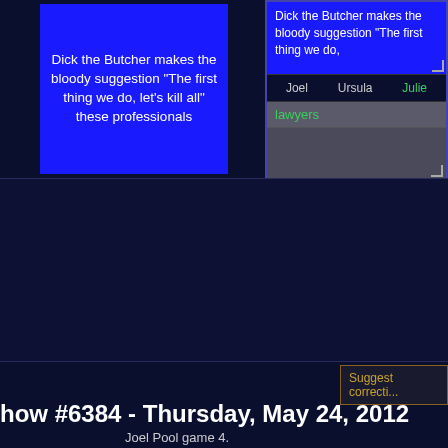[Figure (screenshot): Blue Jeopardy clue box showing text about Dick the Butcher]
[Figure (screenshot): Right panel showing clue text, contestants Joel, Ursula, Julie, answer 'lawyers' and input area]
[Figure (screenshot): Dark blue middle section area]
Suggest correcti...
how #6384 - Thursday, May 24, 2012
Joel Pool game 4.